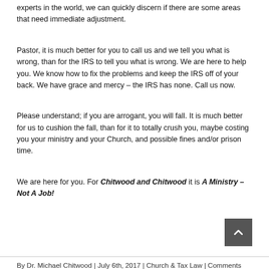experts in the world, we can quickly discern if there are some areas that need immediate adjustment.
Pastor, it is much better for you to call us and we tell you what is wrong, than for the IRS to tell you what is wrong. We are here to help you. We know how to fix the problems and keep the IRS off of your back. We have grace and mercy – the IRS has none. Call us now.
Please understand; if you are arrogant, you will fall. It is much better for us to cushion the fall, than for it to totally crush you, maybe costing you your ministry and your Church, and possible fines and/or prison time.
We are here for you. For Chitwood and Chitwood it is A Ministry – Not A Job!
By Dr. Michael Chitwood | July 6th, 2017 | Church & Tax Law | Comments